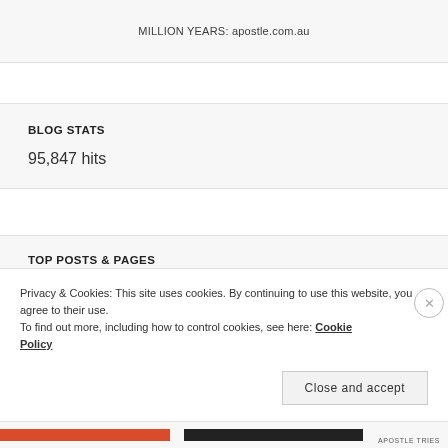MILLION YEARS: apostle.com.au
BLOG STATS
95,847 hits
TOP POSTS & PAGES
Privacy & Cookies: This site uses cookies. By continuing to use this website, you agree to their use.
To find out more, including how to control cookies, see here: Cookie Policy
Close and accept